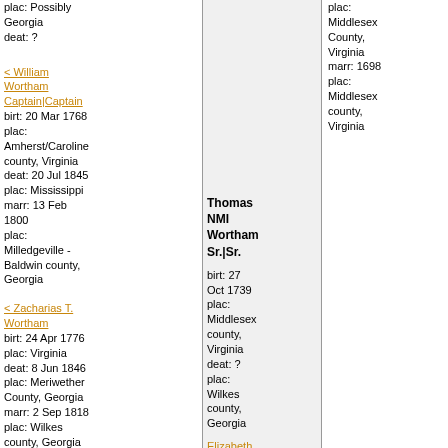plac: Possibly Georgia
deat: ?
< William Wortham Captain|Captain
birt: 20 Mar 1768
plac: Amherst/Caroline county, Virginia
deat: 20 Jul 1845
plac: Mississippi
marr: 13 Feb 1800
plac: Milledgeville - Baldwin county, Georgia
Thomas NMI Wortham Sr.|Sr.
birt: 27 Oct 1739
plac: Middlesex county, Virginia
deat: ?
plac: Wilkes county, Georgia
plac: Middlesex County, Virginia
marr: 1698
plac: Middlesex county, Virginia
Elizabeth Taliaferro
marr: ABT 1764
plac: Caroline County, Virginia
birt: 2 Nov 1741
plac: Caroline county
< Zacharias T. Wortham
birt: 24 Apr 1776
plac: Virginia
deat: 8 Jun 1846
plac: Meriwether County, Georgia
marr: 2 Sep 1818
plac: Wilkes county, Georgia
< Samuel Ironsides Wortham
birt: 6 Sep 1784
plac: Caroline county, Virginia
deat: 2 Nov 1867